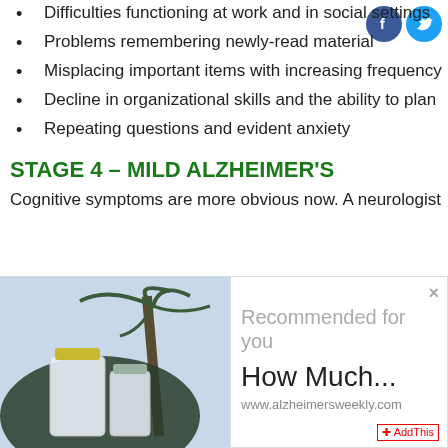Difficulties functioning at work and in social settings
Problems remembering newly-read material
Misplacing important items with increasing frequency
Decline in organizational skills and the ability to plan
Repeating questions and evident anxiety
STAGE 4 – MILD ALZHEIMER'S
Cognitive symptoms are more obvious now. A neurologist
[Figure (photo): Photo of jars/bottles with palm tree in background, partially visible, with an advertisement overlay showing 'Recommended for you / How Much... / www.alzheimersweekly.com / AddThis']